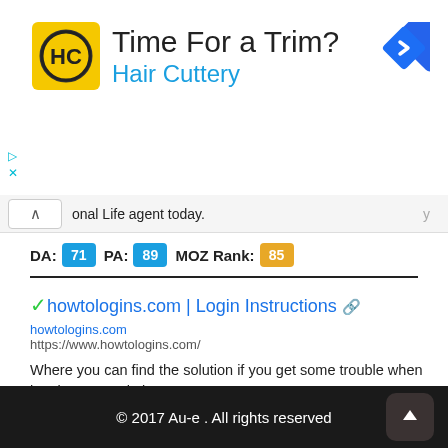[Figure (other): Hair Cuttery advertisement banner with yellow HC logo, text 'Time For a Trim?' and 'Hair Cuttery', blue navigation arrow icon, and ad controls.]
onal Life agent today.
DA: 71  PA: 89  MOZ Rank: 85
✓howtologins.com | Login Instructions 🔗
howtologins.com
https://www.howtologins.com/
Where you can find the solution if you get some trouble when logging any website
DA: 38  PA: 86  MOZ Rank: 57
© 2017 Au-e . All rights reserved